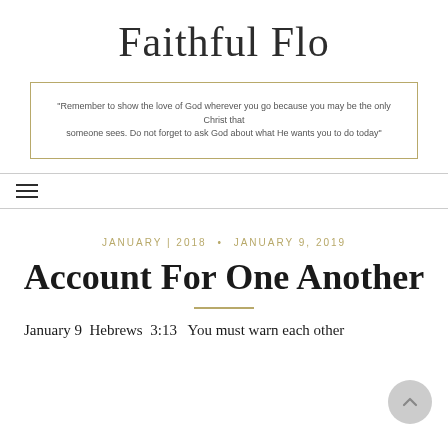Faithful Flo
"Remember to show the love of God wherever you go because you may be the only Christ that someone sees.  Do not forget to ask God about what He wants you  to do today"
☰
JANUARY | 2018  •  JANUARY 9, 2019
Account For One Another
January 9  Hebrews  3:13   You must warn each other